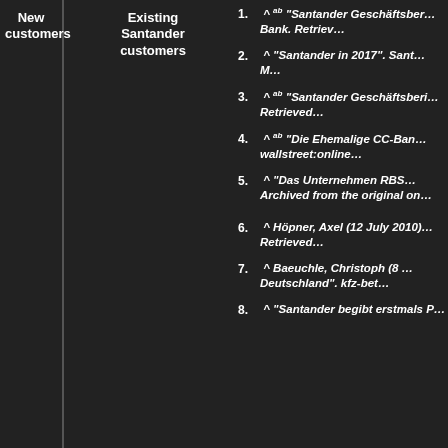New customers
Existing Santander customers
1. ^ ab "Santander Geschäftsbericht... Bank. Retrieved...
2. ^ "Santander in 2017". Sant... M...
3. ^ ab "Santander Geschäftsbericht... Retrieved...
4. ^ ab "Die Ehemalige CC-Bank... wallstreet:online...
5. ^ "Das Unternehmen RBS... Archived from the original on...
6. ^ Höpner, Axel (12 July 2010)... Retrieved...
7. ^ Baeuchle, Christoph (8 ... Deutschland". kfz-bet...
8. ^ "Santander beigt erstmals P...